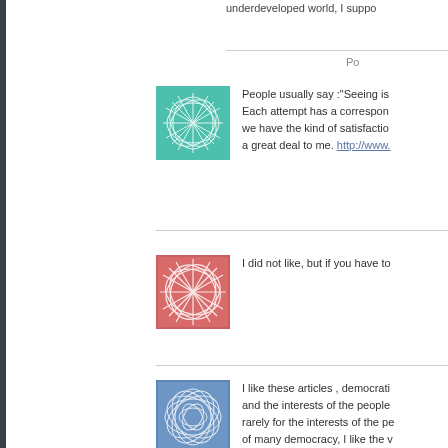underdeveloped world, I suppo
Po
People usually say :"Seeing is ... Each attempt has a correspon... we have the kind of satisfactio... a great deal to me. http://www.
I did not like, but if you have to
I like these articles , democrati... and the interests of the people ... rarely for the interests of the pe... of many democracy, I like the v... http://www.cheapsaleing.com